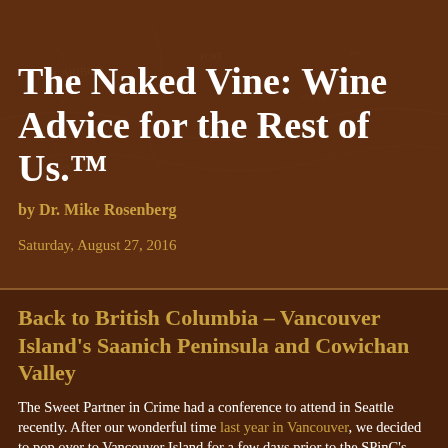The Naked Vine: Wine Advice for the Rest of Us.™
by Dr. Mike Rosenberg
Saturday, August 27, 2016
Back to British Columbia – Vancouver Island's Saanich Peninsula and Cowichan Valley
The Sweet Partner in Crime had a conference to attend in Seattle recently. After our wonderful time last year in Vancouver, we decided to pop over to Vancouver Island for a few days prior to the SPinC's work responsibilities.